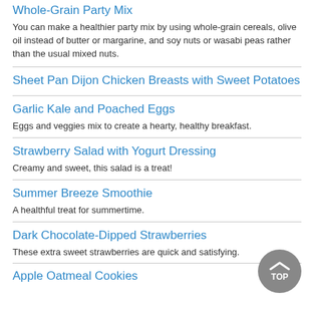Whole-Grain Party Mix
You can make a healthier party mix by using whole-grain cereals, olive oil instead of butter or margarine, and soy nuts or wasabi peas rather than the usual mixed nuts.
Sheet Pan Dijon Chicken Breasts with Sweet Potatoes
Garlic Kale and Poached Eggs
Eggs and veggies mix to create a hearty, healthy breakfast.
Strawberry Salad with Yogurt Dressing
Creamy and sweet, this salad is a treat!
Summer Breeze Smoothie
A healthful treat for summertime.
Dark Chocolate-Dipped Strawberries
These extra sweet strawberries are quick and satisfying.
Apple Oatmeal Cookies